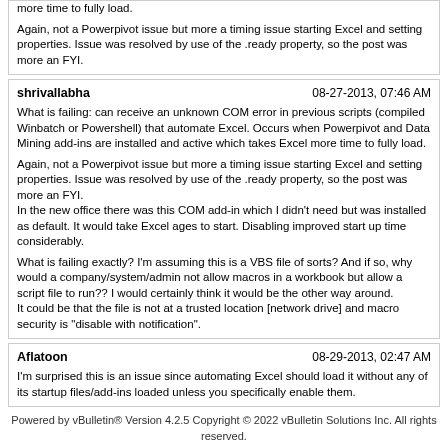more time to fully load.

Again, not a Powerpivot issue but more a timing issue starting Excel and setting properties. Issue was resolved by use of the .ready property, so the post was more an FYI.
shrivallabha | 08-27-2013, 07:46 AM

What is failing: can receive an unknown COM error in previous scripts (compiled Winbatch or Powershell) that automate Excel. Occurs when Powerpivot and Data Mining add-ins are installed and active which takes Excel more time to fully load.

Again, not a Powerpivot issue but more a timing issue starting Excel and setting properties. Issue was resolved by use of the .ready property, so the post was more an FYI.
In the new office there was this COM add-in which I didn't need but was installed as default. It would take Excel ages to start. Disabling improved start up time considerably.

What is failing exactly? I'm assuming this is a VBS file of sorts? And if so, why would a company/system/admin not allow macros in a workbook but allow a script file to run?? I would certainly think it would be the other way around.
It could be that the file is not at a trusted location [network drive] and macro security is "disable with notification".
Aflatoon | 08-29-2013, 02:47 AM

I'm surprised this is an issue since automating Excel should load it without any of its startup files/add-ins loaded unless you specifically enable them.
Powered by vBulletin® Version 4.2.5 Copyright © 2022 vBulletin Solutions Inc. All rights reserved.